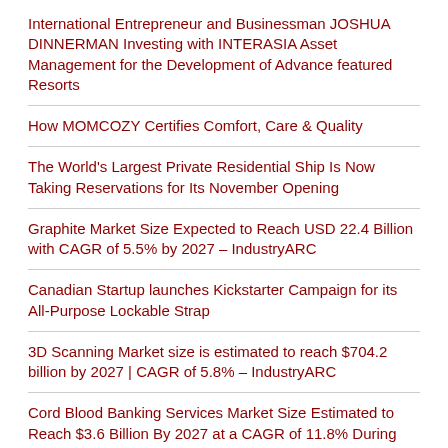International Entrepreneur and Businessman JOSHUA DINNERMAN Investing with INTERASIA Asset Management for the Development of Advance featured Resorts
How MOMCOZY Certifies Comfort, Care & Quality
The World's Largest Private Residential Ship Is Now Taking Reservations for Its November Opening
Graphite Market Size Expected to Reach USD 22.4 Billion with CAGR of 5.5% by 2027 – IndustryARC
Canadian Startup launches Kickstarter Campaign for its All-Purpose Lockable Strap
3D Scanning Market size is estimated to reach $704.2 billion by 2027 | CAGR of 5.8% – IndustryARC
Cord Blood Banking Services Market Size Estimated to Reach $3.6 Billion By 2027 at a CAGR of 11.8% During